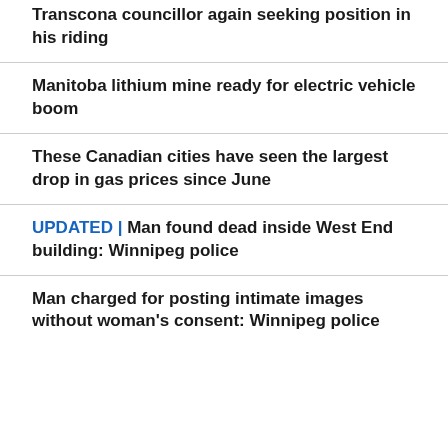Transcona councillor again seeking position in his riding
Manitoba lithium mine ready for electric vehicle boom
These Canadian cities have seen the largest drop in gas prices since June
UPDATED | Man found dead inside West End building: Winnipeg police
Man charged for posting intimate images without woman's consent: Winnipeg police